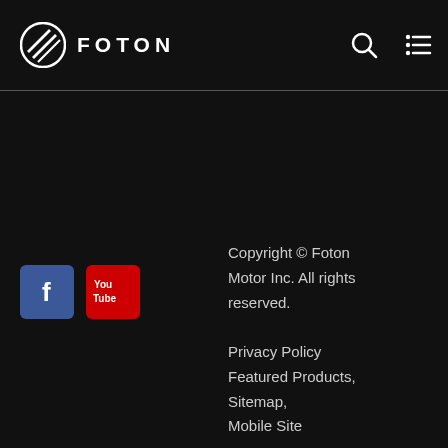[Figure (logo): Foton logo: circular badge with diagonal stripes and text FOTON in white on black header]
[Figure (other): Search icon (magnifying glass) and hamburger menu icon in header top right]
[Figure (other): Facebook icon (blue square with white f) and YouTube icon (red square with You Tube text)]
Copyright © Foton Motor Inc. All rights reserved.
Privacy Policy
Featured Products,
Sitemap,
Mobile Site